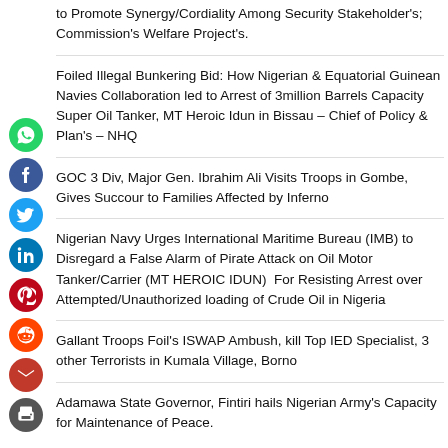to Promote Synergy/Cordiality Among Security Stakeholder's; Commission's Welfare Project's.
Foiled Illegal Bunkering Bid: How Nigerian & Equatorial Guinean Navies Collaboration led to Arrest of 3million Barrels Capacity Super Oil Tanker, MT Heroic Idun in Bissau – Chief of Policy & Plan's – NHQ
GOC 3 Div, Major Gen. Ibrahim Ali Visits Troops in Gombe, Gives Succour to Families Affected by Inferno
Nigerian Navy Urges International Maritime Bureau (IMB) to Disregard a False Alarm of Pirate Attack on Oil Motor Tanker/Carrier (MT HEROIC IDUN)  For Resisting Arrest over Attempted/Unauthorized loading of Crude Oil in Nigeria
Gallant Troops Foil's ISWAP Ambush, kill Top IED Specialist, 3 other Terrorists in Kumala Village, Borno
Adamawa State Governor, Fintiri hails Nigerian Army's Capacity for Maintenance of Peace.